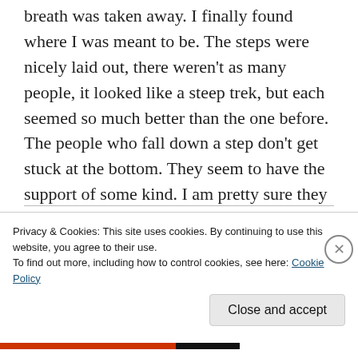breath was taken away. I finally found where I was meant to be. The steps were nicely laid out, there weren't as many people, it looked like a steep trek, but each seemed so much better than the one before. The people who fall down a step don't get stuck at the bottom. They seem to have the support of some kind. I am pretty sure they call it knowledge, or determination, or something along those lines. There are so many more steps, but they get easier and shorter every time you get to the next one. The people look so much happier here than on my other step. Why did nobody tell me
Privacy & Cookies: This site uses cookies. By continuing to use this website, you agree to their use.
To find out more, including how to control cookies, see here: Cookie Policy
Close and accept